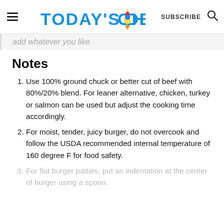Today's Delight — SUBSCRIBE
add whatever you like.
Notes
Use 100% ground chuck or better cut of beef with 80%/20% blend. For leaner alternative, chicken, turkey or salmon can be used but adjust the cooking time accordingly.
For moist, tender, juicy burger, do not overcook and follow the USDA recommended internal temperature of 160 degree F for food safety.
For flat burger patties, put an indentation at the center of burger using a spoon.